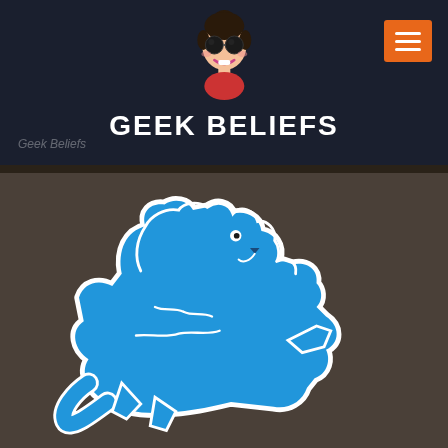[Figure (logo): Geek Beliefs website header with cartoon mascot (woman with glasses and hair bun) above the text GEEK BELIEFS in white bold font on dark navy background. Orange hamburger menu button in top right.]
Geek Beliefs
[Figure (illustration): Detroit Lions NFL team logo — blue lion rearing up on dark brownish-grey background]